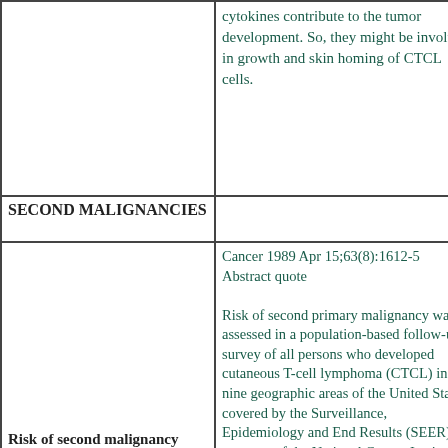| Topic | Reference/Content |
| --- | --- |
|  | cytokines contribute to the tumor development. So, they might be involved in growth and skin homing of CTCL cells. |
| SECOND MALIGNANCIES |  |
| Risk of second malignancy after cutaneous T-cell lymphoma | Cancer 1989 Apr 15;63(8):1612-5 Abstract quote

Risk of second primary malignancy was assessed in a population-based follow-up survey of all persons who developed cutaneous T-cell lymphoma (CTCL) in nine geographic areas of the United States covered by the Surveillance, Epidemiology and End Results (SEER) program of the National Cancer Institute during the period 1973 to 1983 |